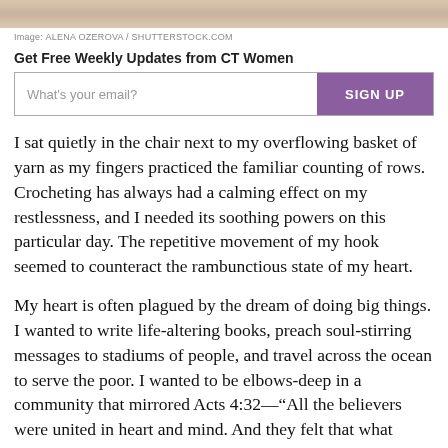[Figure (photo): Top portion of a photo showing a person, cropped at the top of the page]
Image: ALENA OZEROVA / SHUTTERSTOCK.COM
Get Free Weekly Updates from CT Women
What's your email?  SIGN UP
I sat quietly in the chair next to my overflowing basket of yarn as my fingers practiced the familiar counting of rows. Crocheting has always had a calming effect on my restlessness, and I needed its soothing powers on this particular day. The repetitive movement of my hook seemed to counteract the rambunctious state of my heart.
My heart is often plagued by the dream of doing big things. I wanted to write life-altering books, preach soul-stirring messages to stadiums of people, and travel across the ocean to serve the poor. I wanted to be elbows-deep in a community that mirrored Acts 4:32—“All the believers were united in heart and mind. And they felt that what